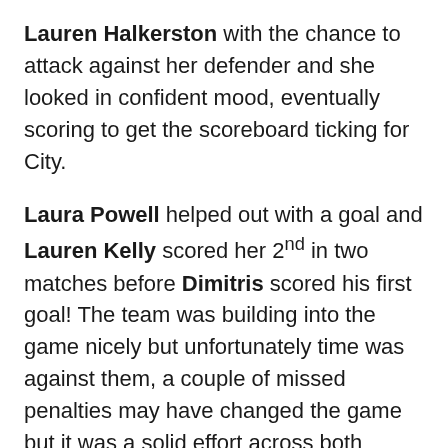Lauren Halkerston with the chance to attack against her defender and she looked in confident mood, eventually scoring to get the scoreboard ticking for City.
Laura Powell helped out with a goal and Lauren Kelly scored her 2nd in two matches before Dimitris scored his first goal! The team was building into the game nicely but unfortunately time was against them, a couple of missed penalties may have changed the game but it was a solid effort across both matches and the team can be rightfully proud of a great start to the new season!
Scorers: Lauren Kelly (1), Laura Powell (1),